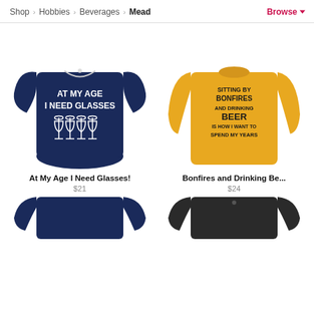Shop > Hobbies > Beverages > Mead  Browse
[Figure (photo): Navy blue t-shirt with text 'AT MY AGE I NEED GLASSES' and wine glasses illustration]
At My Age I Need Glasses!
$21
[Figure (photo): Yellow long-sleeve shirt with text 'SITTING BY BONFIRES AND DRINKING BEER IS HOW I WANT TO SPEND MY YEARS']
Bonfires and Drinking Be...
$24
[Figure (photo): Navy blue t-shirt partially visible at bottom left]
[Figure (photo): Dark/black t-shirt partially visible at bottom right]